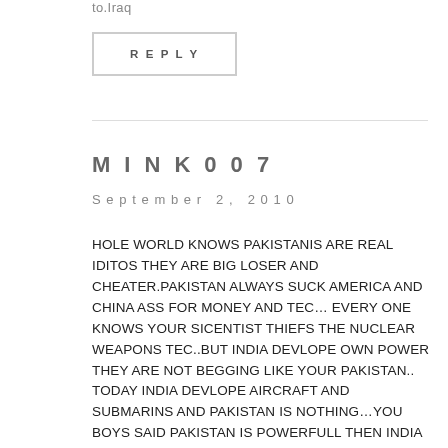to.Iraq
REPLY
MINK007
September 2, 2010
HOLE WORLD KNOWS PAKISTANIS ARE REAL IDITOS THEY ARE BIG LOSER AND CHEATER.PAKISTAN ALWAYS SUCK AMERICA AND CHINA ASS FOR MONEY AND TEC… EVERY ONE KNOWS YOUR SICENTIST THIEFS THE NUCLEAR WEAPONS TEC..BUT INDIA DEVLOPE OWN POWER THEY ARE NOT BEGGING LIKE YOUR PAKISTAN.. TODAY INDIA DEVLOPE AIRCRAFT AND SUBMARINS AND PAKISTAN IS NOTHING…YOU BOYS SAID PAKISTAN IS POWERFULL THEN INDIA YOU ARE YOU STUPIDS PAKISTANIS AMERICAN